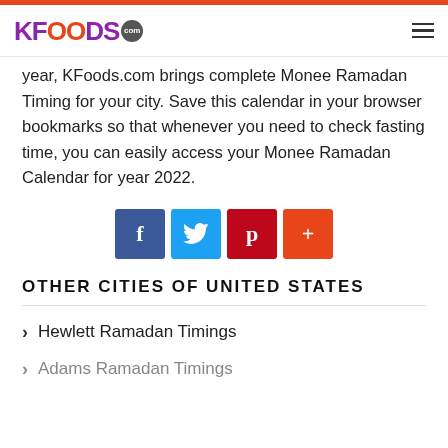KFoods.com
year, KFoods.com brings complete Monee Ramadan Timing for your city. Save this calendar in your browser bookmarks so that whenever you need to check fasting time, you can easily access your Monee Ramadan Calendar for year 2022.
[Figure (other): Social share buttons: Facebook (f), Twitter bird, Pinterest (p), and a plus (+) button]
OTHER CITIES OF UNITED STATES
Hewlett Ramadan Timings
Adams Ramadan Timings (partial)